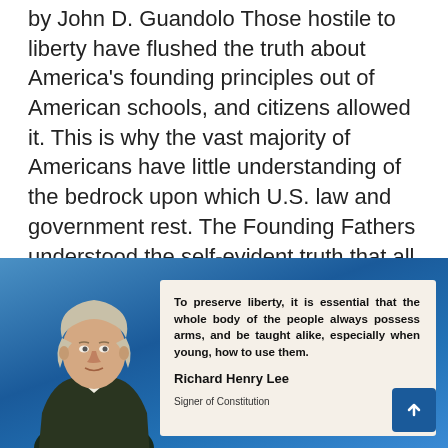by John D. Guandolo Those hostile to liberty have flushed the truth about America's founding principles out of American schools, and citizens allowed it. This is why the vast majority of Americans have little understanding of the bedrock upon which U.S. law and government rest. The Founding Fathers understood the self-evident truth that all human [...]
JG   UTT
[Figure (illustration): Blue gradient background banner containing a portrait illustration of Richard Henry Lee on the left and a quote card on the right reading: 'To preserve liberty, it is essential that the whole body of the people always possess arms, and be taught alike, especially when young, how to use them.' attributed to Richard Henry Lee, Signer of Constitution]